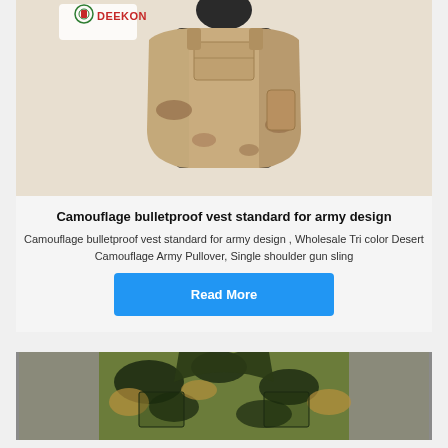[Figure (photo): Deekon branded camouflage bulletproof vest (desert tan tri-color) on a mannequin, shown from the front. Deekon logo visible at top left of image.]
Camouflage bulletproof vest standard for army design
Camouflage bulletproof vest standard for army design , Wholesale Tri color Desert Camouflage Army Pullover, Single shoulder gun sling
Read More
[Figure (photo): Green woodland DPM camouflage bulletproof vest partially visible at the bottom of the page.]